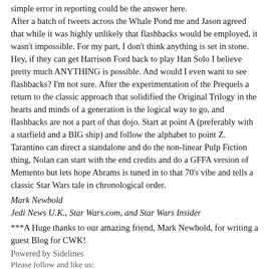simple error in reporting could be the answer here. After a batch of tweets across the Whale Pond me and Jason agreed that while it was highly unlikely that flashbacks would be employed, it wasn't impossible. For my part, I don't think anything is set in stone. Hey, if they can get Harrison Ford back to play Han Solo I believe pretty much ANYTHING is possible. And would I even want to see flashbacks? I'm not sure. After the experimentation of the Prequels a return to the classic approach that solidified the Original Trilogy in the hearts and minds of a generation is the logical way to go, and flashbacks are not a part of that dojo. Start at point A (preferably with a starfield and a BIG ship) and follow the alphabet to point Z. Tarantino can direct a standalone and do the non-linear Pulp Fiction thing, Nolan can start with the end credits and do a GFFA version of Memento but lets hope Abrams is tuned in to that 70's vibe and tells a classic Star Wars tale in chronological order.
Mark Newbold
Jedi News U.K., Star Wars.com, and Star Wars Insider
***A Huge thanks to our amazing friend, Mark Newbold, for writing a guest Blog for CWK!
Powered by Sidelines
Please follow and like us:
[Figure (infographic): Social media buttons: Follow (green), Like (dark blue), Share (Facebook blue), Tweet (Twitter blue), Save (Pinterest red)]
Advertisements
[Figure (other): Blue horizontal bar (advertisement divider)]